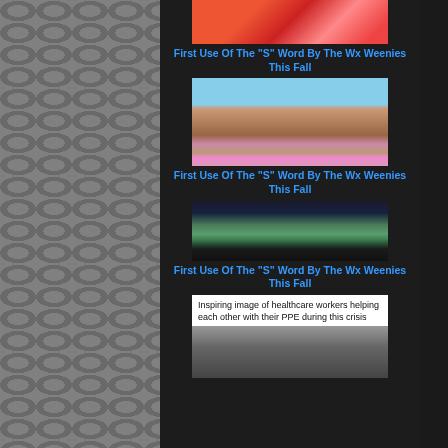[Figure (photo): Red graphic/illustration image thumbnail]
First Use Of The "S" Word By The Wx Weenies This Fall
[Figure (photo): Canyon landscape with red rocks and sky]
First Use Of The "S" Word By The Wx Weenies This Fall
[Figure (photo): Outdoor scene with grass and dark water/ground]
First Use Of The "S" Word By The Wx Weenies This Fall
[Figure (screenshot): Meme with text: Inspiring image of healthcare workers helping each other with their PPE during this crisis, with a black and white photo below]